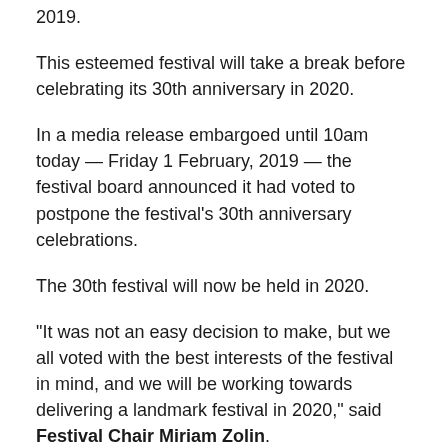2019.
This esteemed festival will take a break before celebrating its 30th anniversary in 2020.
In a media release embargoed until 10am today — Friday 1 February, 2019 — the festival board announced it had voted to postpone the festival's 30th anniversary celebrations.
The 30th festival will now be held in 2020.
“It was not an easy decision to make, but we all voted with the best interests of the festival in mind, and we will be working towards delivering a landmark festival in 2020,” said Festival Chair Miriam Zolin.
The news release went on as follows: